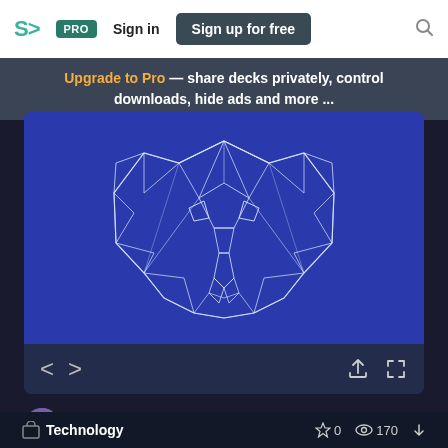SJ PRO  Sign in  Sign up for free  🔍
Upgrade to Pro — share decks privately, control downloads, hide ads and more ...
[Figure (illustration): Geometric low-poly wireframe elephant head illustration in white lines on a blue background, displayed in a slide viewer with navigation arrows and share/fullscreen controls]
Jens Segers    June 09, 2016
Technology    ☆ 0   👁 170   ↓